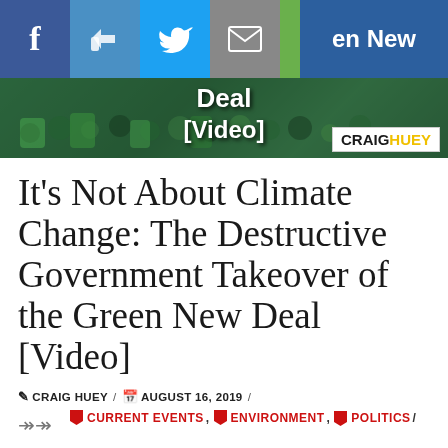[Figure (screenshot): Social media sharing bar with Facebook, Like, Twitter, Email, Print, and Crown/subscription buttons on blue/grey/green backgrounds, with 'en New Deal [Video]' text overlay on the right]
[Figure (photo): Hero image showing green-clad protesters/crowd with text overlay 'Deal [Video]' and Craig Huey logo in bottom right corner]
It’s Not About Climate Change: The Destructive Government Takeover of the Green New Deal [Video]
CRAIG HUEY / AUGUST 16, 2019 /
CURRENT EVENTS, ENVIRONMENT, POLITICS /